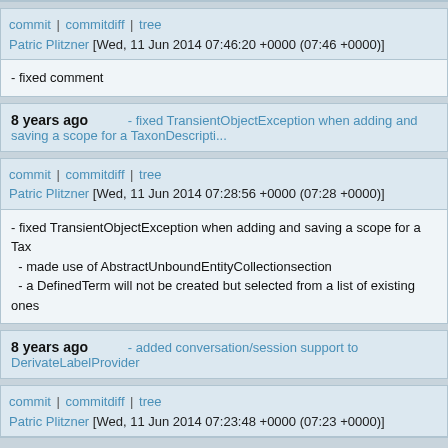commit | commitdiff | tree
Patric Plitzner [Wed, 11 Jun 2014 07:46:20 +0000 (07:46 +0000)]
- fixed comment
8 years ago   - fixed TransientObjectException when adding and saving a scope for a TaxonDescripti...
commit | commitdiff | tree
Patric Plitzner [Wed, 11 Jun 2014 07:28:56 +0000 (07:28 +0000)]
- fixed TransientObjectException when adding and saving a scope for a Tax
- made use of AbstractUnboundEntityCollectionsection
- a DefinedTerm will not be created but selected from a list of existing ones
8 years ago   - added conversation/session support to DerivateLabelProvider
commit | commitdiff | tree
Patric Plitzner [Wed, 11 Jun 2014 07:23:48 +0000 (07:23 +0000)]